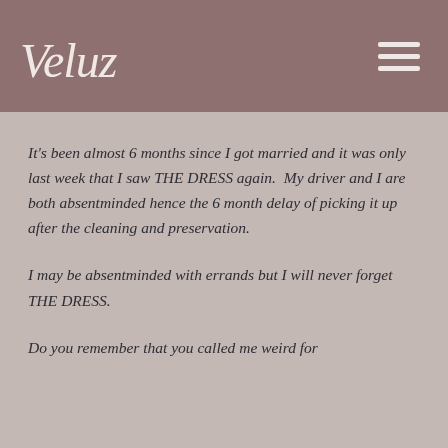Veluz
It's been almost 6 months since I got married and it was only last week that I saw THE DRESS again.  My driver and I are both absentminded hence the 6 month delay of picking it up after the cleaning and preservation.
I may be absentminded with errands but I will never forget THE DRESS.
Do you remember that you called me weird for